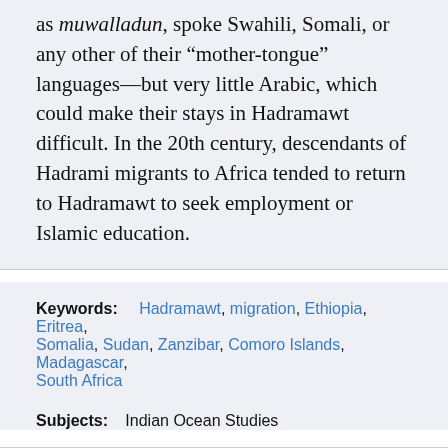as muwalladun, spoke Swahili, Somali, or any other of their “mother-tongue” languages—but very little Arabic, which could make their stays in Hadramawt difficult. In the 20th century, descendants of Hadrami migrants to Africa tended to return to Hadramawt to seek employment or Islamic education.
Keywords: Hadramawt, migration, Ethiopia, Eritrea, Somalia, Sudan, Zanzibar, Comoro Islands, Madagascar, South Africa
Subjects: Indian Ocean Studies